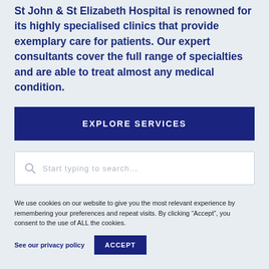St John & St Elizabeth Hospital is renowned for its highly specialised clinics that provide exemplary care for patients. Our expert consultants cover the full range of specialties and are able to treat almost any medical condition.
EXPLORE SERVICES
Start typing to search...
We use cookies on our website to give you the most relevant experience by remembering your preferences and repeat visits. By clicking “Accept”, you consent to the use of ALL the cookies.
See our privacy policy
ACCEPT